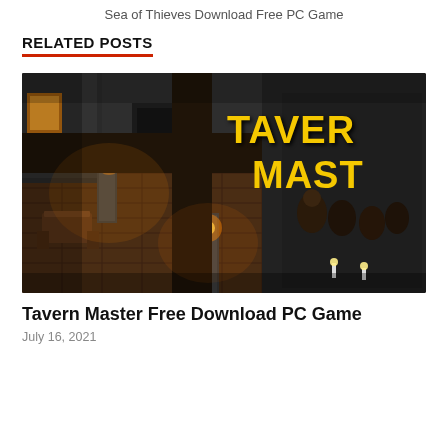Sea of Thieves Download Free PC Game
RELATED POSTS
[Figure (photo): Isometric fantasy tavern game screenshot with 'TAVERN MASTER' text overlay in yellow on dark background]
Tavern Master Free Download PC Game
July 16, 2021